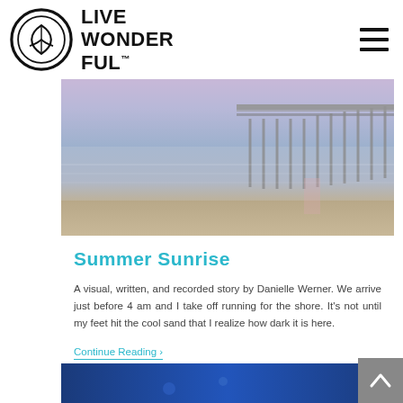LIVE WONDERFUL
[Figure (photo): Beach pier at sunrise/dusk with soft purple and pink hues, calm water reflecting a wooden pier structure stretching into the sea, sandy shore in foreground.]
Summer Sunrise
A visual, written, and recorded story by Danielle Werner. We arrive just before 4 am and I take off running for the shore. It's not until my feet hit the cool sand that I realize how dark it is here.
Continue Reading ›
[Figure (photo): Dark blue underwater or night scene, partially visible at bottom of page.]